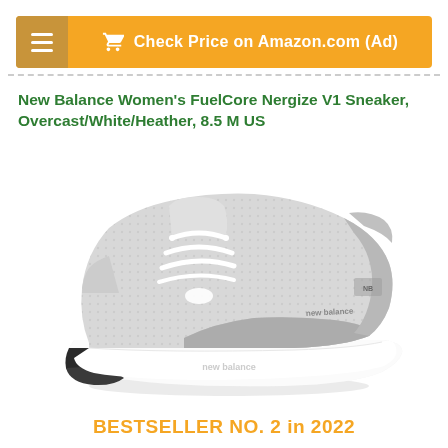[Figure (screenshot): Orange navigation bar with hamburger menu on left and 'Check Price on Amazon.com (Ad)' button with cart icon on right]
New Balance Women's FuelCore Nergize V1 Sneaker, Overcast/White/Heather, 8.5 M US
[Figure (photo): New Balance Women's FuelCore Nergize V1 Sneaker in Overcast/White/Heather colorway - light grey mesh sneaker with white sole and dark outsole]
BESTSELLER NO. 2 in 2022